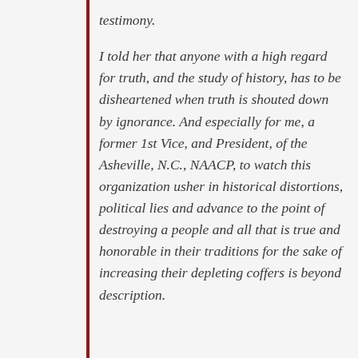testimony.

I told her that anyone with a high regard for truth, and the study of history, has to be disheartened when truth is shouted down by ignorance. And especially for me, a former 1st Vice, and President, of the Asheville, N.C., NAACP, to watch this organization usher in historical distortions, political lies and advance to the point of destroying a people and all that is true and honorable in their traditions for the sake of increasing their depleting coffers is beyond description.